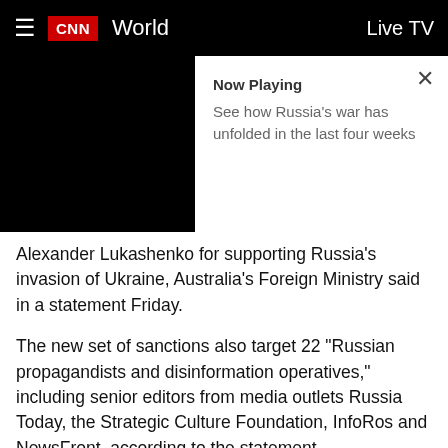CNN World | Live TV
[Figure (screenshot): CNN app navigation bar with hamburger menu, CNN logo in red, 'World' section label, and 'Live TV' button on the right]
[Figure (screenshot): Video player area (black) with 'Now Playing' overlay popup showing text: 'See how Russia's war has unfolded in the last four weeks' with a close (X) button]
Alexander Lukashenko for supporting Russia's invasion of Ukraine, Australia's Foreign Ministry said in a statement Friday.
The new set of sanctions also target 22 "Russian propagandists and disinformation operatives," including senior editors from media outlets Russia Today, the Strategic Culture Foundation, InfoRos and NewsFront, according to the statement.
Others include Lukashenko's wife, Galina, and his son Viktor, who previously held senior national security roles